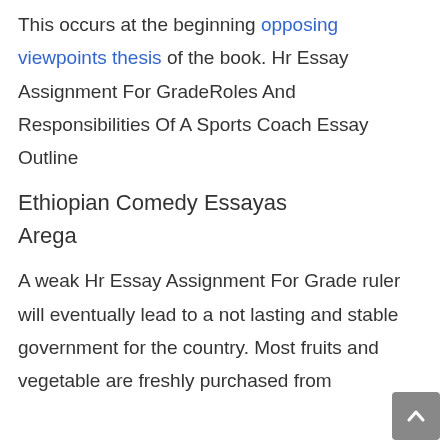This occurs at the beginning opposing viewpoints thesis of the book. Hr Essay Assignment For GradeRoles And Responsibilities Of A Sports Coach Essay Outline
Ethiopian Comedy Essayas Arega
A weak Hr Essay Assignment For Grade ruler will eventually lead to a not lasting and stable government for the country. Most fruits and vegetable are freshly purchased from